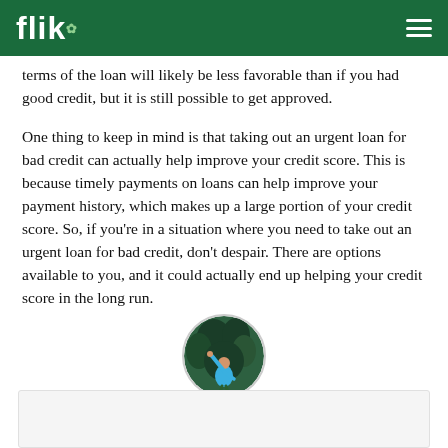flik
terms of the loan will likely be less favorable than if you had good credit, but it is still possible to get approved.
One thing to keep in mind is that taking out an urgent loan for bad credit can actually help improve your credit score. This is because timely payments on loans can help improve your payment history, which makes up a large portion of your credit score. So, if you're in a situation where you need to take out an urgent loan for bad credit, don't despair. There are options available to you, and it could actually end up helping your credit score in the long run.
[Figure (photo): Circular avatar photo of a person in a blue shirt with arm raised, against a dark green foliage background]